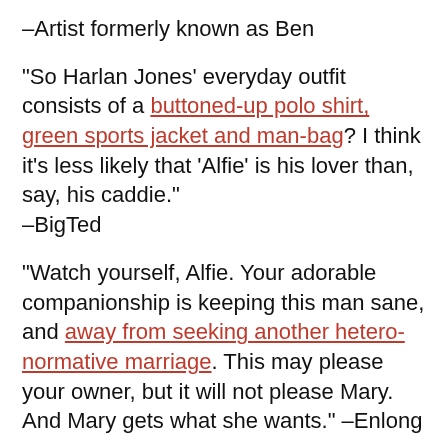–Artist formerly known as Ben
“So Harlan Jones’ everyday outfit consists of a buttoned-up polo shirt, green sports jacket and man-bag? I think it’s less likely that ‘Alfie’ is his lover than, say, his caddie.” –BigTed
“Watch yourself, Alfie. Your adorable companionship is keeping this man sane, and away from seeking another hetero-normative marriage. This may please your owner, but it will not please Mary. And Mary gets what she wants.” –Enlong
“So I told my editor, ‘she can have tits or she can have a chin, I don’t do both.’” –Dan
‘‘Matty Squared’ is 10% Max Headroom and